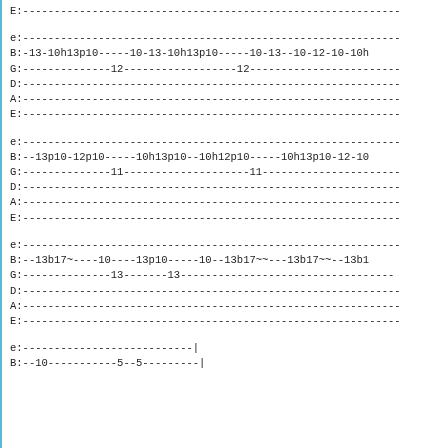E:------------------------------------------------------------
e:------------------------------------------------------------
B:-13-10h13p10-----10-13-10h13p10-----10-13--10-12-10-10h
G:--------------12------------------12------------------------
D:------------------------------------------------------------
A:------------------------------------------------------------
E:------------------------------------------------------------
e:------------------------------------------------------------
B:--13p10-12p10-----10h13p10--10h12p10-----10h13p10-12-10
G:--------------11--------------------11----------------------
D:------------------------------------------------------------
A:------------------------------------------------------------
E:------------------------------------------------------------
e:------------------------------------------------------------
B:--13b17~----10----13p10-----10--13b17~~---13b17~~--13b1
G:--------------13-------13----------------------------------
D:------------------------------------------------------------
A:------------------------------------------------------------
E:------------------------------------------------------------
e:---------------------------|
B:--10-----------5--5---------|